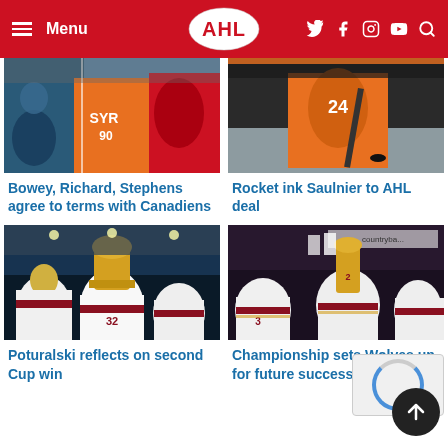Menu | AHL | Social Icons
[Figure (photo): Hockey players on ice, orange jerseys, Comets/Crunch players]
[Figure (photo): Hockey player in orange Flyers-style jersey, number 24]
Bowey, Richard, Stephens agree to terms with Canadiens
Rocket ink Saulnier to AHL deal
[Figure (photo): Players celebrating with Calder Cup trophy, Poturalski number 32 in white and maroon jersey]
[Figure (photo): Chicago Wolves players celebrating championship, holding trophy]
Poturalski reflects on second Cup win
Championship sets Wolves up for future success